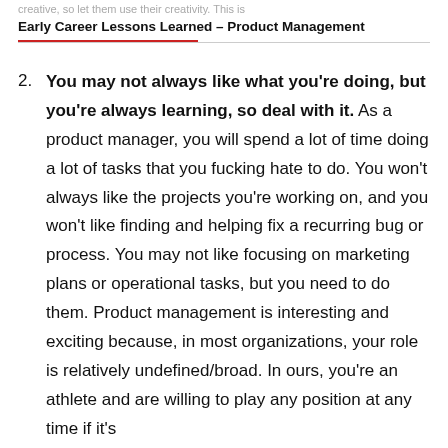creative, so let them use their creativity. This is
Early Career Lessons Learned – Product Management
2. You may not always like what you're doing, but you're always learning, so deal with it.  As a product manager, you will spend a lot of time doing a lot of tasks that you fucking hate to do.  You won't always like the projects you're working on, and you won't like finding and helping fix a recurring bug or process.  You may not like focusing on marketing plans or operational tasks, but you need to do them.  Product management is interesting and exciting because, in most organizations, your role is relatively undefined/broad.  In ours, you're an athlete and are willing to play any position at any time if it's